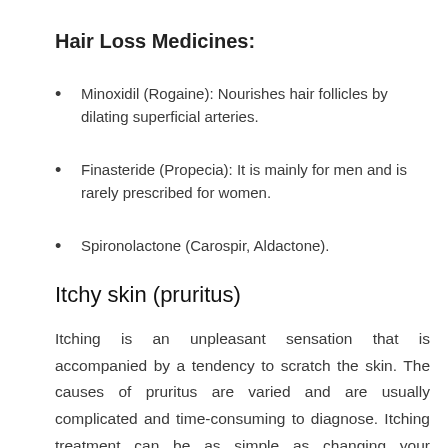Hair Loss Medicines:
Minoxidil (Rogaine): Nourishes hair follicles by dilating superficial arteries.
Finasteride (Propecia): It is mainly for men and is rarely prescribed for women.
Spironolactone (Carospir, Aldactone).
Itchy skin (pruritus)
Itching is an unpleasant sensation that is accompanied by a tendency to scratch the skin. The causes of pruritus are varied and are usually complicated and time-consuming to diagnose. Itching treatment can be as simple as changing your underwear with an allergy